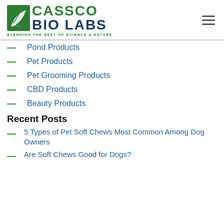[Figure (logo): Cassco Bio Labs logo with green leaf icon and tagline 'Blending the Best of Science & Nature']
Pond Products
Pet Products
Pet Grooming Products
CBD Products
Beauty Products
Recent Posts
5 Types of Pet Soft Chews Most Common Among Dog Owners
Are Soft Chews Good for Dogs?